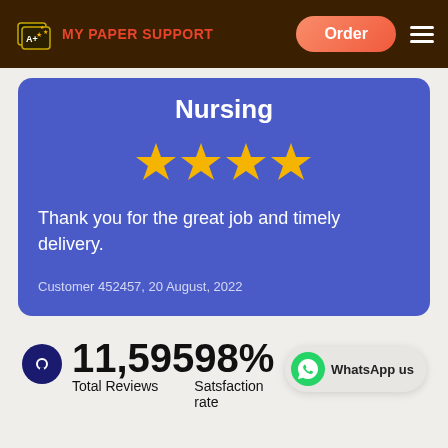MY PAPER SUPPORT — Order
Nursing
[Figure (other): 4 gold stars rating]
Thank you for the great job and timely delivery.
Customer 452457, 20 August, 2022
11,595
Total Reviews
98%
Satsfaction rate
[Figure (other): WhatsApp us button with green WhatsApp icon]